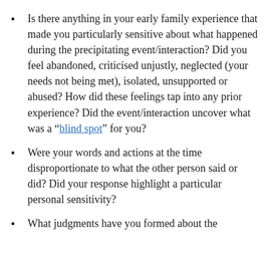Is there anything in your early family experience that made you particularly sensitive about what happened during the precipitating event/interaction? Did you feel abandoned, criticised unjustly, neglected (your needs not being met), isolated, unsupported or abused? How did these feelings tap into any prior experience? Did the event/interaction uncover what was a "blind spot" for you?
Were your words and actions at the time disproportionate to what the other person said or did? Did your response highlight a particular personal sensitivity?
What judgments have you formed about the